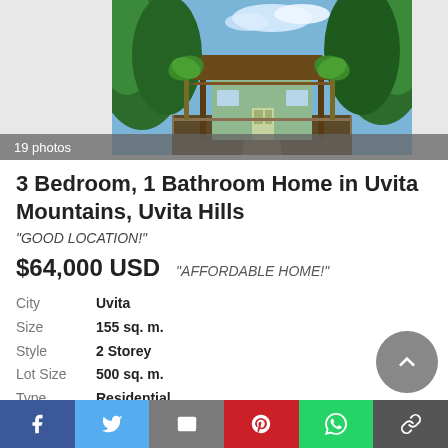[Figure (photo): Exterior photo of a home surrounded by tropical vegetation, with a covered porch/entrance area, taken in Uvita Mountains Costa Rica. Label '19 photos' overlaid at bottom.]
3 Bedroom, 1 Bathroom Home in Uvita Mountains, Uvita Hills
"GOOD LOCATION!"
$64,000 USD    "AFFORDABLE HOME!"
City  Uvita
Size  155 sq. m.
Style  2 Storey
Lot Size  500 sq. m.
Type  Residential
Built  2008
Bedrooms  3
Bathrooms  1